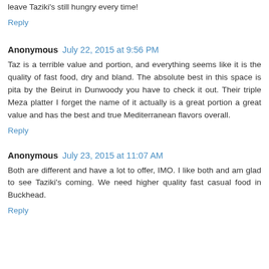leave Taziki's still hungry every time!
Reply
Anonymous July 22, 2015 at 9:56 PM
Taz is a terrible value and portion, and everything seems like it is the quality of fast food, dry and bland. The absolute best in this space is pita by the Beirut in Dunwoody you have to check it out. Their triple Meza platter I forget the name of it actually is a great portion a great value and has the best and true Mediterranean flavors overall.
Reply
Anonymous July 23, 2015 at 11:07 AM
Both are different and have a lot to offer, IMO. I like both and am glad to see Taziki's coming. We need higher quality fast casual food in Buckhead.
Reply